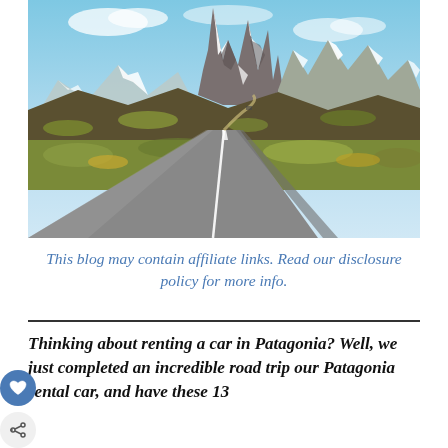[Figure (photo): A winding road leading toward dramatic snow-capped mountain peaks (Fitz Roy, Patagonia). The foreground shows a paved road curving to the right, flanked by low scrubby vegetation and gravel. The background shows jagged rocky snow-covered peaks under a blue sky with light clouds.]
This blog may contain affiliate links. Read our disclosure policy for more info.
Thinking about renting a car in Patagonia? Well, we just completed an incredible road trip our Patagonia rental car, and have these 13 best tips to share with you.